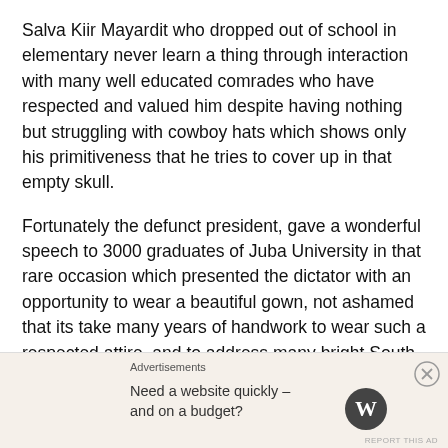Salva Kiir Mayardit who dropped out of school in elementary never learn a thing through interaction with many well educated comrades who have respected and valued him despite having nothing but struggling with cowboy hats which shows only his primitiveness that he tries to cover up in that empty skull.
Fortunately the defunct president, gave a wonderful speech to 3000 graduates of Juba University in that rare occasion which presented the dictator with an opportunity to wear a beautiful gown, not ashamed that its take many years of handwork to wear such a respected attire, and to address many bright South Sudanese students.
Advertisements
Need a website quickly – and on a budget?